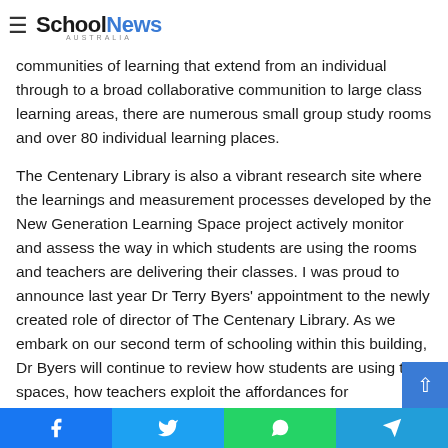School News Australia
communities of learning that extend from an individual through to a broad collaborative communition to large class learning areas, there are numerous small group study rooms and over 80 individual learning places.
The Centenary Library is also a vibrant research site where the learnings and measurement processes developed by the New Generation Learning Space project actively monitor and assess the way in which students are using the rooms and teachers are delivering their classes. I was proud to announce last year Dr Terry Byers' appointment to the newly created role of director of The Centenary Library. As we embark on our second term of schooling within this building, Dr Byers will continue to review how students are using the spaces, how teachers exploit the affordances for pedagogical gain, and h The Centenary Library benefits the wider Churchie and
Facebook Twitter WhatsApp Telegram